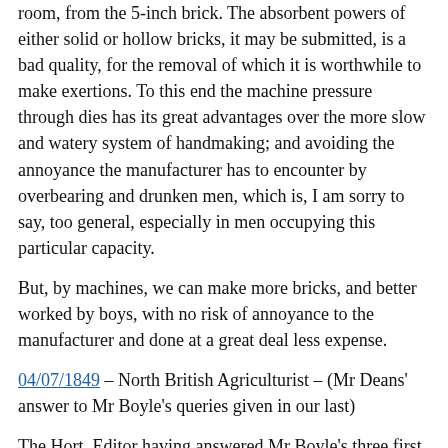room, from the 5-inch brick. The absorbent powers of either solid or hollow bricks, it may be submitted, is a bad quality, for the removal of which it is worthwhile to make exertions. To this end the machine pressure through dies has its great advantages over the more slow and watery system of handmaking; and avoiding the annoyance the manufacturer has to encounter by overbearing and drunken men, which is, I am sorry to say, too general, especially in men occupying this particular capacity.
But, by machines, we can make more bricks, and better worked by boys, with no risk of annoyance to the manufacturer and done at a great deal less expense.
04/07/1849 – North British Agriculturist – (Mr Deans' answer to Mr Boyle's queries given in our last)
The Hort. Editor having answered Mr Boyle's three first queries, I beg to answer the rest, as the assertions Mr B. thinks requiring explanation